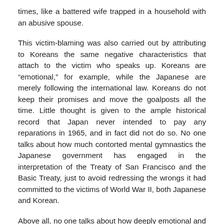times, like a battered wife trapped in a household with an abusive spouse.
This victim-blaming was also carried out by attributing to Koreans the same negative characteristics that attach to the victim who speaks up. Koreans are “emotional,” for example, while the Japanese are merely following the international law. Koreans do not keep their promises and move the goalposts all the time. Little thought is given to the ample historical record that Japan never intended to pay any reparations in 1965, and in fact did not do so. No one talks about how much contorted mental gymnastics the Japanese government has engaged in the interpretation of the Treaty of San Francisco and the Basic Treaty, just to avoid redressing the wrongs it had committed to the victims of World War II, both Japanese and Korean.
Above all, no one talks about how deeply emotional and irrational it is for Abe Shinzo to end the ‘65 System, the foundation of Japan’s relationship with its closest economic and security partner, for the sake of defending wartime slavery. The US foreign policy circles did not protest Abe’s